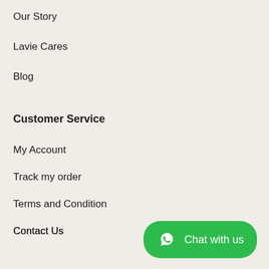Our Story
Lavie Cares
Blog
Customer Service
My Account
Track my order
Terms and Condition
Contact Us
Privacy Policy
Shipping Policy
[Figure (other): WhatsApp Chat with us button in green]